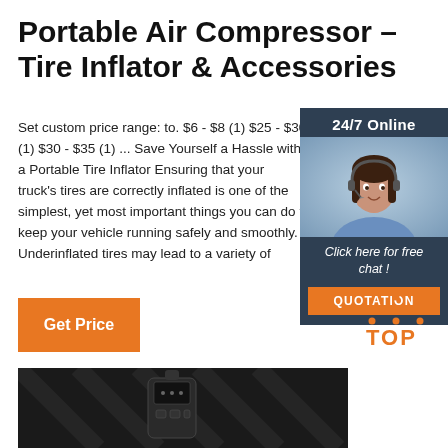Portable Air Compressor – Tire Inflator & Accessories
Set custom price range: to. $6 - $8 (1) $25 - $30 (1) $30 - $35 (1) ... Save Yourself a Hassle with a Portable Tire Inflator Ensuring that your truck's tires are correctly inflated is one of the simplest, yet most important things you can do to keep your vehicle running safely and smoothly. Underinflated tires may lead to a variety of
[Figure (photo): Customer service representative in chat widget with '24/7 Online' header and 'Click here for free chat!' text and orange QUOTATION button]
[Figure (other): Orange 'Get Price' button]
[Figure (logo): Orange TOP logo with dotted triangle above text]
[Figure (photo): Dark/black portable air compressor product image]